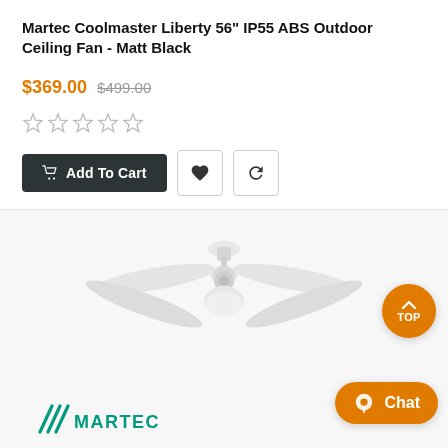Martec Coolmaster Liberty 56" IP55 ABS Outdoor Ceiling Fan - Matt Black
$369.00 $499.00
[Figure (other): Five empty star rating icons in a row]
[Figure (other): Add To Cart button (dark), heart icon button, refresh/compare icon button]
[Figure (photo): White Martec 4-blade ceiling fan with light globe, viewed from slight angle]
[Figure (logo): Martec brand logo with triple diagonal slash lines and MARTEC text in teal/green]
[Figure (other): Orange circular TOP button in bottom right]
[Figure (other): Orange Chat button in bottom right corner]